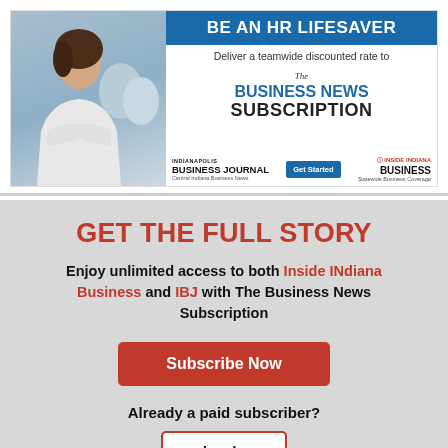[Figure (illustration): Advertisement banner: 'BE AN HR LIFESAVER – Deliver a teamwide discounted rate to The Business News Subscription' with Indianapolis Business Journal and Inside INdiana Business logos and a Get Started button. Left side shows a woman with arms crossed in a business setting.]
GET THE FULL STORY
Enjoy unlimited access to both Inside INdiana Business and IBJ with The Business News Subscription
Subscribe Now
Already a paid subscriber?
Log In